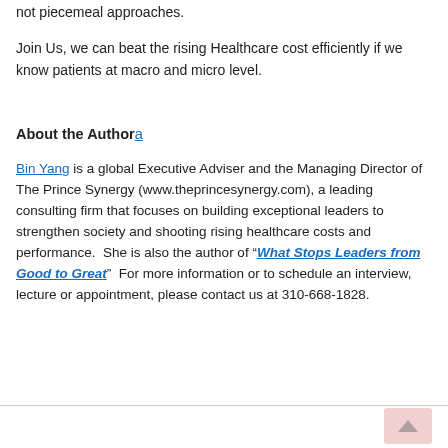not piecemeal approaches.
Join Us, we can beat the rising Healthcare cost efficiently if we know patients at macro and micro level.
About the Author
Bin Yang is a global Executive Adviser and the Managing Director of The Prince Synergy (www.theprincesynergy.com), a leading consulting firm that focuses on building exceptional leaders to strengthen society and shooting rising healthcare costs and performance.  She is also the author of "What Stops Leaders from Good to Great"  For more information or to schedule an interview, lecture or appointment, please contact us at 310-668-1828.